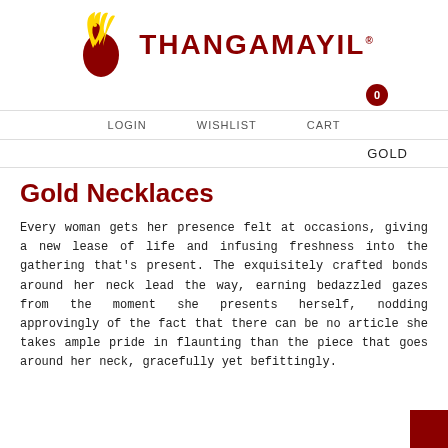[Figure (logo): Thangamayil Jewellery logo — a gold and dark red peacock emblem with the brand name THANGAMAYIL in bold dark red letters]
LOGIN   WISHLIST   CART
GOLD
Gold Necklaces
Every woman gets her presence felt at occasions, giving a new lease of life and infusing freshness into the gathering that's present. The exquisitely crafted bonds around her neck lead the way, earning bedazzled gazes from the moment she presents herself, nodding approvingly of the fact that there can be no article she takes ample pride in flaunting than the piece that goes around her neck, gracefully yet befittingly.